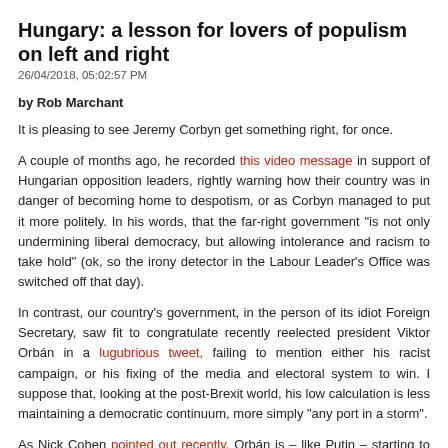Hungary: a lesson for lovers of populism on left and right
26/04/2018, 05:02:57 PM
by Rob Marchant
It is pleasing to see Jeremy Corbyn get something right, for once.
A couple of months ago, he recorded this video message in support of Hungarian opposition leaders, rightly warning how their country was in danger of becoming home to despotism, or as Corbyn managed to put it more politely. In his words, that the far-right government "is not only undermining liberal democracy, but allowing intolerance and racism to take hold" (ok, so the irony detector in the Labour Leader's Office was switched off that day).
In contrast, our country's government, in the person of its idiot Foreign Secretary, saw fit to congratulate recently reelected president Viktor Orbán in a lugubrious tweet, failing to mention either his racist campaign, or his fixing of the media and electoral system to win. I suppose that, looking at the post-Brexit world, his low calculation is less maintaining a democratic continuum, more simply "any port in a storm".
As Nick Cohen pointed out recently, Orbán is – like Putin – starting to treat harmless NGOs as enemies of the state. Not to mention demonising one of the country's great entrepreneurs and philanthropists, George Soros, by fabricating ridiculous stories that he will flood the country with immigrants (he is clearly neither a government nor standing for office). As Cohen writes: "It's as if UK ministers were pretending the choice before the electorate was between the Conservative party and Human Rights Watch." Quite. But more of Soros later.
Back to Budapest, where I was last week. A beautiful city and not – not yet –